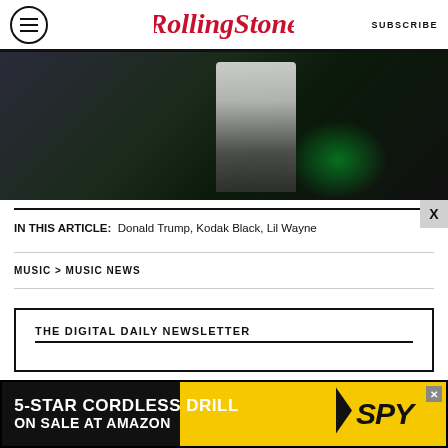Rolling Stone | SUBSCRIBE
[Figure (photo): Concert/performance photo showing a figure in white shirt holding a microphone, with green stage lighting in background, dark moody atmosphere]
IN THIS ARTICLE:  Donald Trump, Kodak Black, Lil Wayne
MUSIC > MUSIC NEWS
THE DIGITAL DAILY NEWSLETTER
[Figure (photo): Advertisement banner: 5-STAR CORDLESS DRILL ON SALE AT AMAZON / SPY]